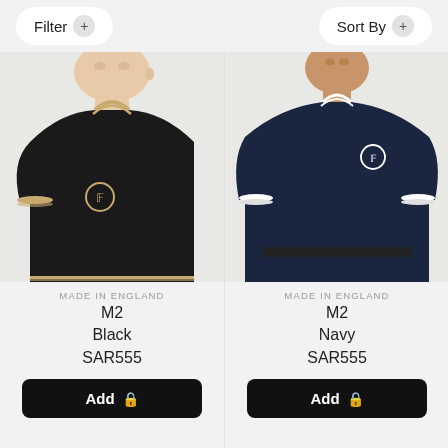Filter  Sort By
[Figure (photo): Close-up of a young man wearing a black Fred Perry polo shirt with gold/champagne tipping on collar and cuffs, featuring the Fred Perry laurel wreath logo on the chest]
MADE IN ENGLAND
M2
Black
SAR555
Add
[Figure (photo): Full upper body shot of a young man wearing a navy Fred Perry polo shirt with white tipping on collar and cuffs, featuring the Fred Perry laurel wreath logo on the chest, with navy trousers and a belt]
MADE IN ENGLAND
M2
Navy
SAR555
Add